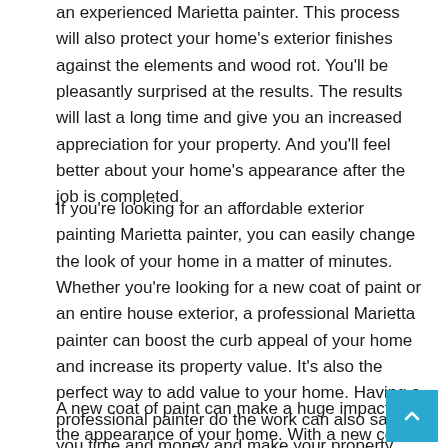an experienced Marietta painter. This process will also protect your home's exterior finishes against the elements and wood rot. You'll be pleasantly surprised at the results. The results will last a long time and give you an increased appreciation for your property. And you'll feel better about your home's appearance after the job is completed.
If you're looking for an affordable exterior painting Marietta painter, you can easily change the look of your home in a matter of minutes. Whether you're looking for a new coat of paint or an entire house exterior, a professional Marietta painter can boost the curb appeal of your home and increase its property value. It's also the perfect way to add value to your home. Having a professional painter do the work can also save you time and money and make your property look more attractive.
A new coat of paint can make a huge impact on the appearance of your home. With a new coat of paint